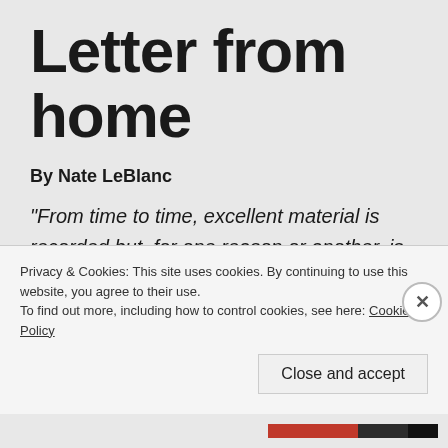Letter from home
By Nate LeBlanc
“From time to time, excellent material is recorded but, for one reason or another, is never released. This is a case in point.” —Jac Holzman, founder, Elektra Records
Privacy & Cookies: This site uses cookies. By continuing to use this website, you agree to their use.
To find out more, including how to control cookies, see here: Cookie Policy
Close and accept